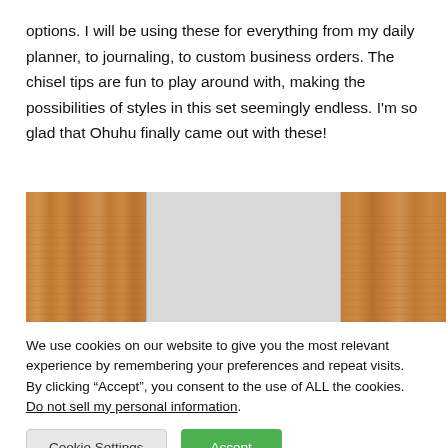options. I will be using these for everything from my daily planner, to journaling, to custom business orders. The chisel tips are fun to play around with, making the possibilities of styles in this set seemingly endless. I'm so glad that Ohuhu finally came out with these!
[Figure (photo): Close-up photo of a wooden surface with a light gray paper or card placed on top, showing wood grain texture on the left and right sides and a smooth gray rectangular area in the center.]
We use cookies on our website to give you the most relevant experience by remembering your preferences and repeat visits. By clicking “Accept”, you consent to the use of ALL the cookies. Do not sell my personal information.